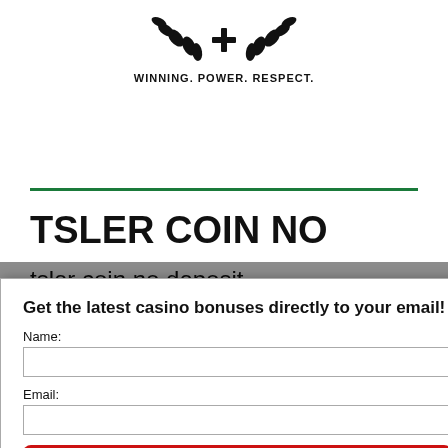[Figure (logo): Casino/gaming logo with laurel wreath emblem and tagline WINNING. POWER. RESPECT.]
BTSLER COIN NO
tsler coin no deposit. e free Bitsler Coins to play all games. The BTSLR balances will R challenges! me free Bitsler Coins ( get rewarded in the VIP
Get the latest casino bonuses directly to your email!
Name:
Email:
SIGN UP NOW!
By subscribing you are certifying that you have reviewed and accepted our updated Privacy and Cookie policy.
We respect your email privacy
Powered by AWeber Email Marketing